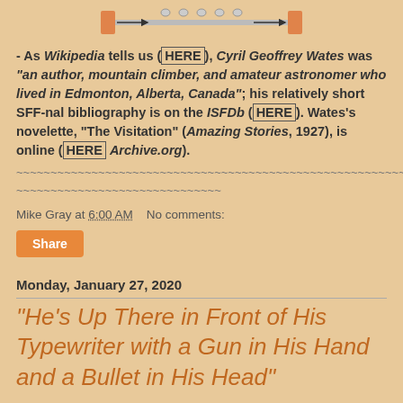[Figure (illustration): A mechanical/typewriter mechanism diagram showing a metal track with orange components and arrows indicating direction]
- As Wikipedia tells us (HERE), Cyril Geoffrey Wates was "an author, mountain climber, and amateur astronomer who lived in Edmonton, Alberta, Canada"; his relatively short SFF-nal bibliography is on the ISFDb (HERE). Wates's novelette, "The Visitation" (Amazing Stories, 1927), is online (HERE Archive.org).
~~~~~~~~~~~~~~~~~~~~~~~~~~~~~~~~~~~~~~~~~~~~~~~~~~~~~~~~~~~~~~~~~~~~~~~~~~~~~~~~~~~~~~~~~~~~~~~~~~~~~~~~~~~~~~~~
Mike Gray at 6:00 AM    No comments:
Share
Monday, January 27, 2020
"He's Up There in Front of His Typewriter with a Gun in His Hand and a Bullet in His Head"